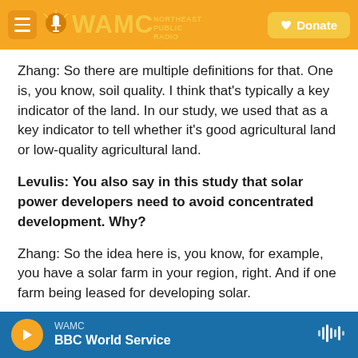WAMC Northeast Public Radio — Donate
Zhang: So there are multiple definitions for that. One is, you know, soil quality. I think that's typically a key indicator of the land. In our study, we used that as a key indicator to tell whether it's good agricultural land or low-quality agricultural land.
Levulis: You also say in this study that solar power developers need to avoid concentrated development. Why?
Zhang: So the idea here is, you know, for example, you have a solar farm in your region, right. And if one farm being leased for developing solar.
WAMC BBC World Service